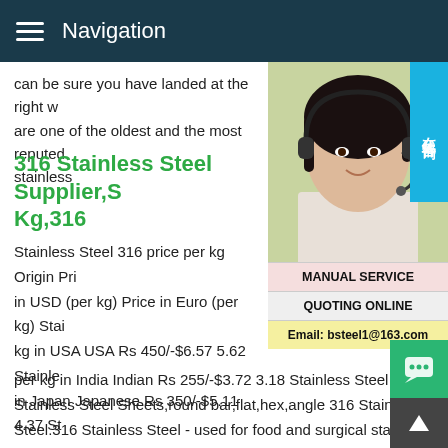Navigation
can be sure you have landed at the right w are one of the oldest and the most reputed stainless
316 Stainless Steel Supplier,S Kg,316
Stainless Steel 316 price per kg Origin Pri in USD (per kg) Price in Euro (per kg) Stai kg in USA USA Rs 450/-$6.57 5.62 Stainle in Japan Japanese Rs 350/-$5.11 4.37 St per kg in India Indian Rs 255/-$3.72 3.18 Stainless Steel 316 Stainless Steel Sheets,round bar,flat,hex,angle 316 Stainless Steel.316 Stainless Steel - used for food and surgical stainless steel.Also known as marine grade stainless steel due to its increased resistance to chloride corrosion compared to type 304.316L is an extra low carbon grade of 316,generally used i
[Figure (photo): Woman with headset - customer service representative photo with Chinese text badge and service overlay panels showing MANUAL SERVICE, QUOTING ONLINE, Email: bsteel1@163.com]